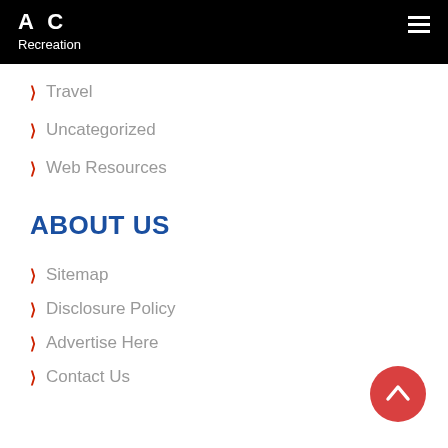AC Recreation
Travel
Uncategorized
Web Resources
ABOUT US
Sitemap
Disclosure Policy
Advertise Here
Contact Us
[Figure (other): Back to top button — red circle with white upward chevron]